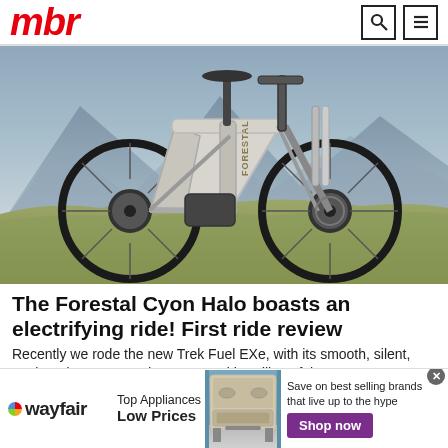mbr
[Figure (photo): A Forestal Cyon Halo electric mountain bike photographed outdoors on a grassy hillside with mountains in the background. The bike is white/silver with black components and large knobby tires.]
The Forestal Cyon Halo boasts an electrifying ride! First ride review
Recently we rode the new Trek Fuel EXe, with its smooth, silent, unobtrusive motor and uncorrupted handling. If th…
MBR
[Figure (other): Wayfair advertisement banner: Top Appliances Low Prices — Save on best selling brands that live up to the hype — Shop now button. Features a stove/range appliance image and the Wayfair logo.]